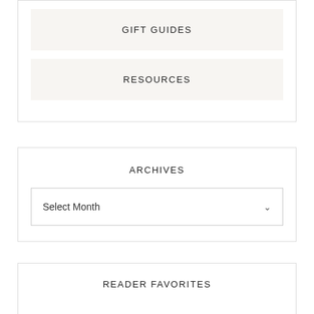GIFT GUIDES
RESOURCES
ARCHIVES
Select Month
READER FAVORITES